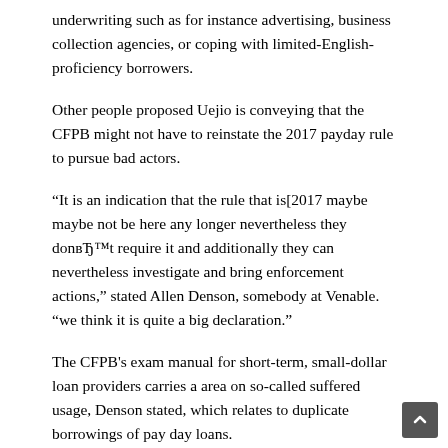underwriting such as for instance advertising, business collection agencies, or coping with limited-English-proficiency borrowers.
Other people proposed Uejio is conveying that the CFPB might not have to reinstate the 2017 payday rule to pursue bad actors.
“It is an indication that the rule that is[2017 maybe maybe not be here any longer nevertheless they donвЂ™t require it and additionally they can nevertheless investigate and bring enforcement actions,” stated Allen Denson, somebody at Venable. “we think it is quite a big declaration.”
The CFPB's exam manual for short-term, small-dollar loan providers carries a area on so-called suffered usage, Denson stated, which relates to duplicate borrowings of pay day loans.
Many years of CFPB research supported the bureau's view that perform re-borrowings of 10 loans or maybe more by way of a solitary conumer constituted damage, Uejio said.